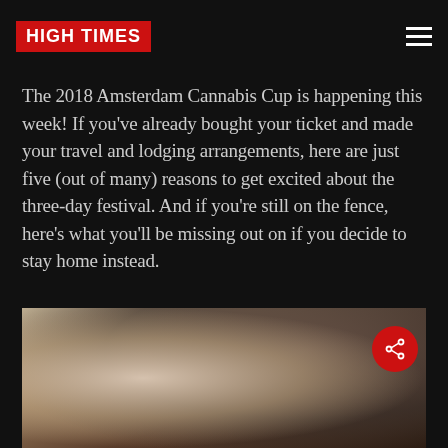HIGH TIMES
The 2018 Amsterdam Cannabis Cup is happening this week! If you've already bought your ticket and made your travel and lodging arrangements, here are just five (out of many) reasons to get excited about the three-day festival. And if you're still on the fence, here's what you'll be missing out on if you decide to stay home instead.
[Figure (photo): A close-up photo of hands rolling or holding a cigarette/joint, with a blurred light background. The image has warm tones with bokeh effect.]